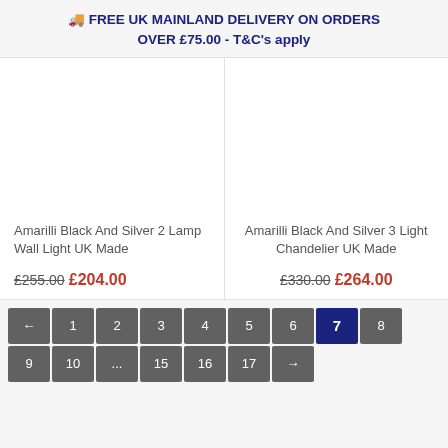🚚 FREE UK MAINLAND DELIVERY ON ORDERS OVER £75.00 - T&C's apply
Amarilli Black And Silver 2 Lamp Wall Light UK Made
£255.00 £204.00
Amarilli Black And Silver 3 Light Chandelier UK Made
£330.00 £264.00
← 1 2 3 4 5 6 7 8 9 10 ... 15 16 17 →